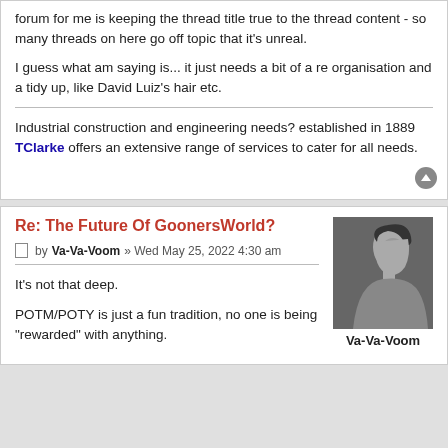forum for me is keeping the thread title true to the thread content - so many threads on here go off topic that it's unreal.

I guess what am saying is... it just needs a bit of a re organisation and a tidy up, like David Luiz's hair etc.
Industrial construction and engineering needs? established in 1889 TClarke offers an extensive range of services to cater for all needs.
Re: The Future Of GoonersWorld?
by Va-Va-Voom » Wed May 25, 2022 4:30 am
It's not that deep.

POTM/POTY is just a fun tradition, no one is being "rewarded" with anything.
[Figure (photo): Black and white profile photo of a person, avatar for user Va-Va-Voom]